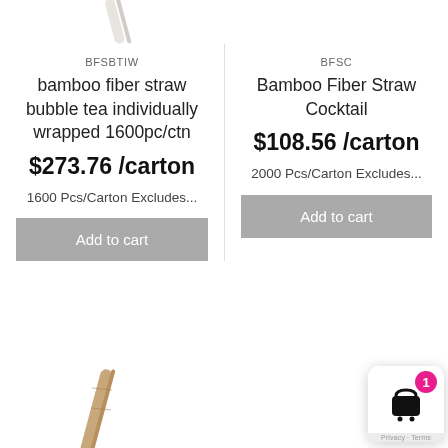[Figure (photo): Partial view of a white bamboo fiber straw at top-left of page]
BFSBTIW
bamboo fiber straw bubble tea individually wrapped 1600pc/ctn
$273.76 /carton
1600 Pcs/Carton Excludes...
Add to cart
BFSC
Bamboo Fiber Straw Cocktail
$108.56 /carton
2000 Pcs/Carton Excludes...
Add to cart
[Figure (photo): Partial view of a bamboo straw at bottom-left of page]
[Figure (illustration): Shopping cart widget with pink badge showing count 1, at bottom-right corner]